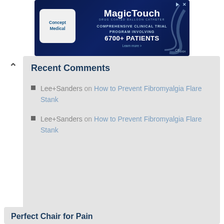[Figure (other): MagicTouch advertisement banner by Concept Medical. Text reads: MagicTouch, COMPREHENSIVE CLINICAL TRIAL PROGRAM INVOLVING 6700+ PATIENTS, CE1434]
Recent Comments
Lee+Sanders on How to Prevent Fibromyalgia Flare Stank
Lee+Sanders on How to Prevent Fibromyalgia Flare Stank
Perfect Chair for Pain
[Figure (photo): Amazon product listing image showing a chair product with amazon logo and orange arrow]